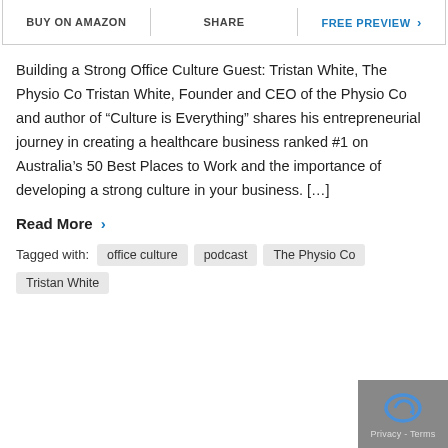BUY ON AMAZON | SHARE | FREE PREVIEW >
Building a Strong Office Culture Guest: Tristan White, The Physio Co Tristan White, Founder and CEO of the Physio Co and author of “Culture is Everything” shares his entrepreneurial journey in creating a healthcare business ranked #1 on Australia’s 50 Best Places to Work and the importance of developing a strong culture in your business. […]
Read More >
Tagged with: office culture   podcast   The Physio Co   Tristan White